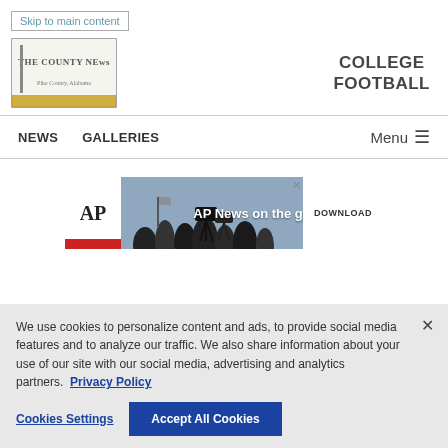Skip to main content
[Figure (logo): Pike County News newspaper logo - text logo with decorative border]
COLLEGE FOOTBALL
NEWS   GALLERIES   Menu ☰
[Figure (screenshot): AP News advertisement banner: AP logo on left, silhouettes of camera operators in background, text 'AP News on the go', DOWNLOAD button on right, with close X button]
We use cookies to personalize content and ads, to provide social media features and to analyze our traffic. We also share information about your use of our site with our social media, advertising and analytics partners.  Privacy Policy
Cookies Settings   Accept All Cookies